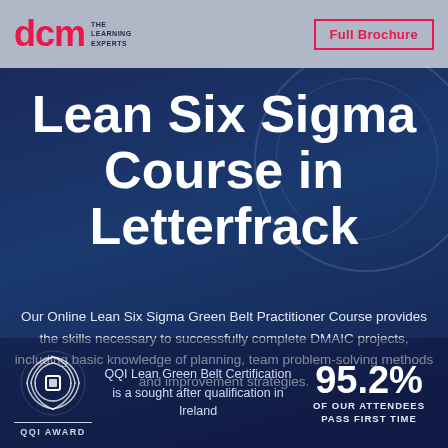dcm THE LEARNING EXPERTS — Full Brochure
Lean Six Sigma Course in Letterfrack
Our Online Lean Six Sigma Green Belt Practitioner Course provides the skills necessary to successfully complete DMAIC projects, including basic knowledge of planning, team problem-solving methods and improvement strategies.
[Figure (logo): QQI Award circular logo with swirl pattern]
QQI Lean Green Belt Certification is a sought after qualification in Ireland
95.2% OF OUR ATTENDEES PASS FIRST TIME